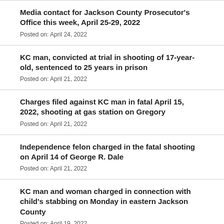Media contact for Jackson County Prosecutor's Office this week, April 25-29, 2022
Posted on: April 24, 2022
KC man, convicted at trial in shooting of 17-year-old, sentenced to 25 years in prison
Posted on: April 21, 2022
Charges filed against KC man in fatal April 15, 2022, shooting at gas station on Gregory
Posted on: April 21, 2022
Independence felon charged in the fatal shooting on April 14 of George R. Dale
Posted on: April 21, 2022
KC man and woman charged in connection with child's stabbing on Monday in eastern Jackson County
Posted on: April 19, 2022